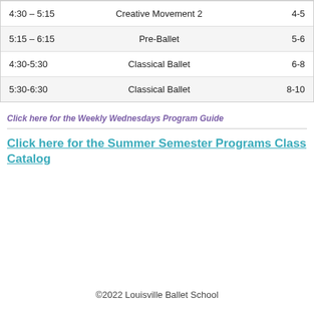| Time | Class | Age |
| --- | --- | --- |
| 4:30 – 5:15 | Creative Movement 2 | 4-5 |
| 5:15 – 6:15 | Pre-Ballet | 5-6 |
| 4:30-5:30 | Classical Ballet | 6-8 |
| 5:30-6:30 | Classical Ballet | 8-10 |
Click here for the Weekly Wednesdays Program Guide
Click here for the Summer Semester Programs Class Catalog
©2022 Louisville Ballet School